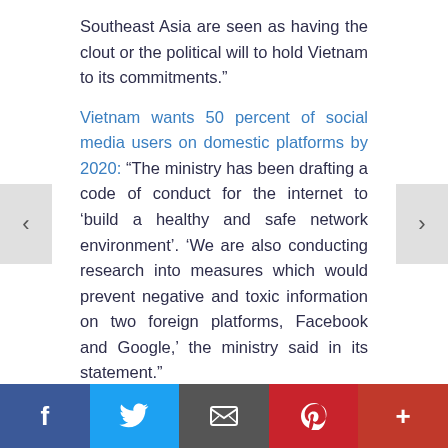Southeast Asia are seen as having the clout or the political will to hold Vietnam to its commitments.”
Vietnam wants 50 percent of social media users on domestic platforms by 2020: “The ministry has been drafting a code of conduct for the internet to ‘build a healthy and safe network environment’. ‘We are also conducting research into measures which would prevent negative and toxic information on two foreign platforms, Facebook and Google,’ the ministry said in its statement.”
TAKE ACTION
f  [Twitter bird]  [Email icon]  [Pinterest icon]  +